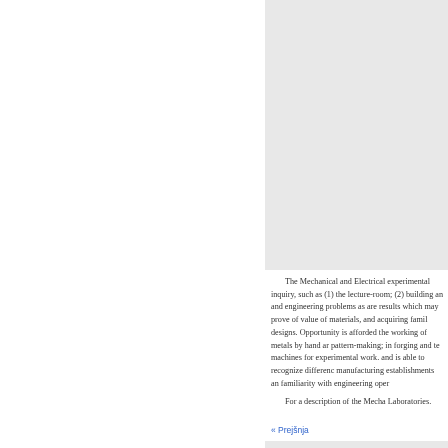The Mechanical and Electrical experimental inquiry, such as (1) the lecture-room; (2) building and engineering problems as are results which may prove of value of materials, and acquiring familiarity with designs. Opportunity is afforded the working of metals by hand and pattern-making; in forging and tempering; machines for experimental work. and is able to recognize differences manufacturing establishments and familiarity with engineering operations.
For a description of the Mechanical Laboratories.
« Prejšnja